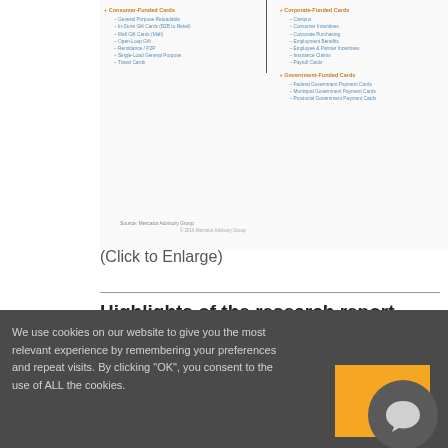[Figure (infographic): Two-column diagram showing Consumer-Funded Cards (left) and Corporate-Funded Cards / Government-Funded Cards (right) with sub-items listed in blue text]
(Click to Enlarge)
Highlights of the research report include:
Mercator Advisory Group was
We use cookies on our website to give you the most relevant experience by remembering your preferences and repeat visits. By clicking “OK”, you consent to the use of ALL the cookies.